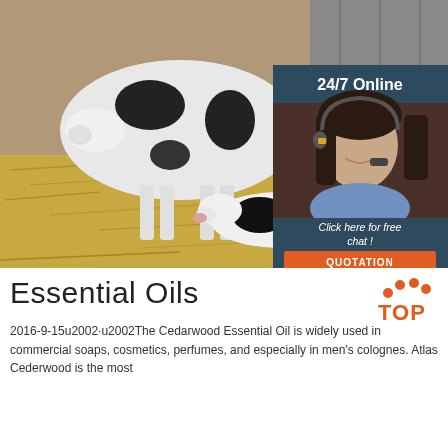[Figure (photo): Farm scene showing dairy cows with a newborn calf lying on hay in a barn. A black and white Holstein cow stands over the calf. An overlay chat widget shows '24/7 Online' with an image of a female call center agent with a headset, and a 'Click here for free chat!' message with a QUOTATION button.]
Essential Oils
[Figure (logo): TOP logo with orange dots arranged in an arc above the word TOP in orange text]
2016-9-15u2002·u2002The Cedarwood Essential Oil is widely used in commercial soaps, cosmetics, perfumes, and especially in men's colognes. Atlas Cederwood is the most